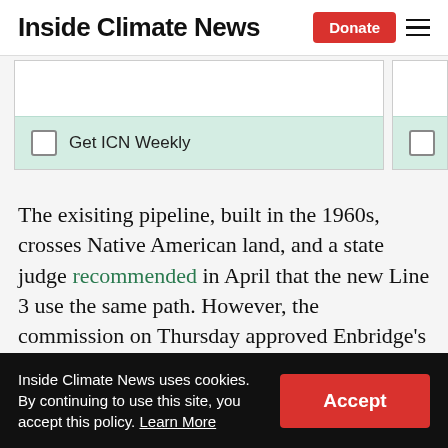Inside Climate News
[Figure (screenshot): Newsletter signup checkboxes with 'Get ICN Weekly' label on mint green background]
The exisiting pipeline, built in the 1960s, crosses Native American land, and a state judge recommended in April that the new Line 3 use the same path. However, the commission on Thursday approved Enbridge's preferred route instead, with some modifications.
Inside Climate News uses cookies. By continuing to use this site, you accept this policy. Learn More